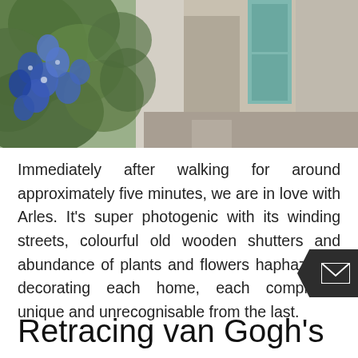[Figure (photo): Photograph of a narrow street in Arles, France, with blue flowering climbing plants (clematis) on the left foreground, stone building walls, colourful wooden shutters (blue-green), and a cobblestone alleyway.]
Immediately after walking for around approximately five minutes, we are in love with Arles. It's super photogenic with its winding streets, colourful old wooden shutters and abundance of plants and flowers haphazardly decorating each home, each completely unique and unrecognisable from the last.
Retracing van Gogh's